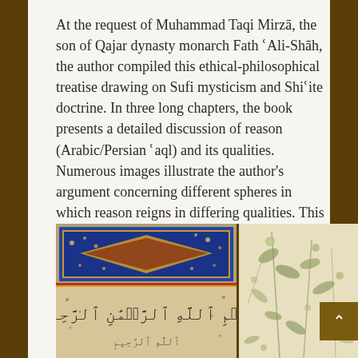At the request of Muhammad Taqi Mirzā, the son of Qajar dynasty monarch Fath ʿAli-Shāh, the author compiled this ethical-philosophical treatise drawing on Sufi mysticism and Shiʿite doctrine. In three long chapters, the book presents a detailed discussion of reason (Arabic/Persian ʿaql) and its qualities. Numerous images illustrate the author's argument concerning different spheres in which reason reigns in differing qualities. This book is noteworthy as a rare example of printing in gold.
[Figure (photo): Photograph of an illuminated Islamic manuscript showing two pages: the left page features a decorative geometric header with blue and gold arabesque patterns and a diamond-shaped central cartouche with Arabic text in gold, below which is Arabic calligraphy including the Basmala. The right page shows a floral botanical pattern with leaves and flowers on a cream background.]